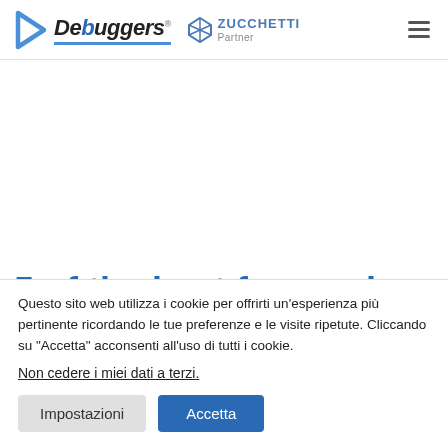Debuggers – Zucchetti Partner
5 of the best free code editors available
Questo sito web utilizza i cookie per offrirti un'esperienza più pertinente ricordando le tue preferenze e le visite ripetute. Cliccando su "Accetta" acconsenti all'uso di tutti i cookie.
Non cedere i miei dati a terzi.
Impostazioni   Accetta